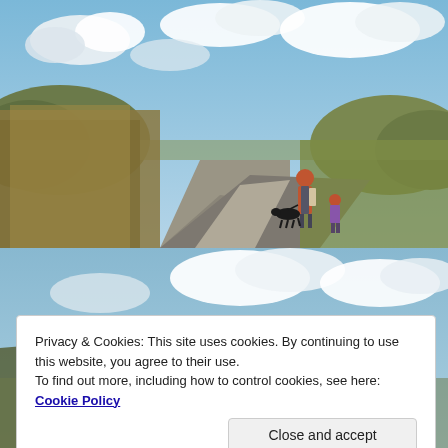[Figure (photo): Outdoor photo of a gravel path stretching into the distance with tall grass/reeds on the left, moorland hills in the background, cloudy sky. A person with a pink jacket and backpack walks away from camera with a small child and a black dog on a leash.]
[Figure (photo): Partial view of a second outdoor photo, showing cloudy blue sky at top and beginning of a hillside/moorland landscape at bottom. Partially obscured by cookie consent banner.]
Privacy & Cookies: This site uses cookies. By continuing to use this website, you agree to their use.
To find out more, including how to control cookies, see here: Cookie Policy